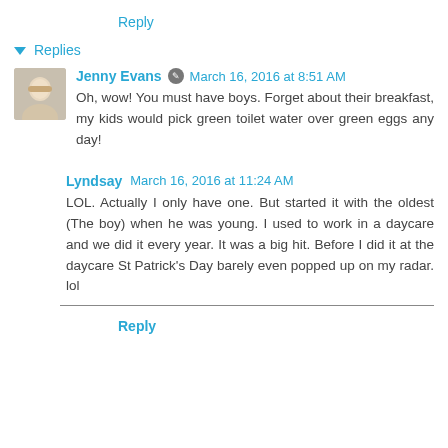Reply
▾ Replies
Jenny Evans ✎ March 16, 2016 at 8:51 AM
Oh, wow! You must have boys. Forget about their breakfast, my kids would pick green toilet water over green eggs any day!
Lyndsay March 16, 2016 at 11:24 AM
LOL. Actually I only have one. But started it with the oldest (The boy) when he was young. I used to work in a daycare and we did it every year. It was a big hit. Before I did it at the daycare St Patrick's Day barely even popped up on my radar. lol
Reply